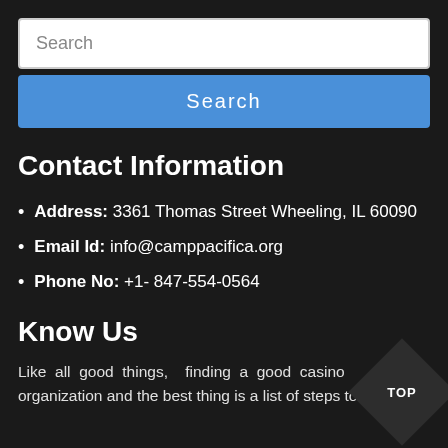Search
Search
Contact Information
Address: 3361 Thomas Street Wheeling, IL 60090
Email Id: info@camppacifica.org
Phone No: +1- 847-554-0564
Know Us
Like all good things, finding a good casino s organization and the best thing is a list of steps to
[Figure (illustration): Diamond-shaped black badge with 'TOP' text in white]